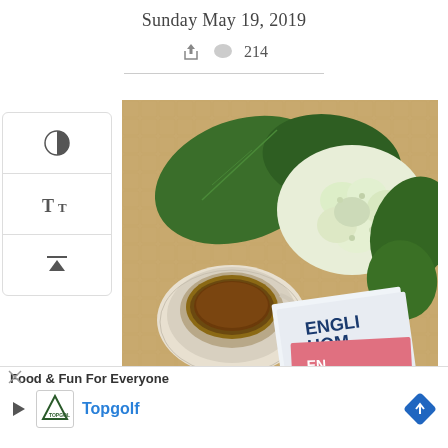Sunday May 19, 2019
share icon  comment icon  214
[Figure (photo): Top-down photograph of a tea cup on saucer, white hydrangea flowers with green leaves, and two copies of 'The English Home' magazine, all resting on a tan/gold textured surface.]
[Figure (screenshot): Sidebar UI with contrast, font size, and scroll-to-top buttons]
Food & Fun For Everyone  Topgolf